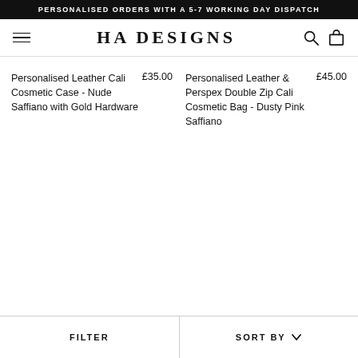PERSONALISED ORDERS WITH A 5-7 WORKING DAY DISPATCH
HA DESIGNS
Personalised Leather Cali Cosmetic Case - Nude Saffiano with Gold Hardware £35.00
Personalised Leather & Perspex Double Zip Cali Cosmetic Bag - Dusty Pink Saffiano £45.00
FILTER    SORT BY